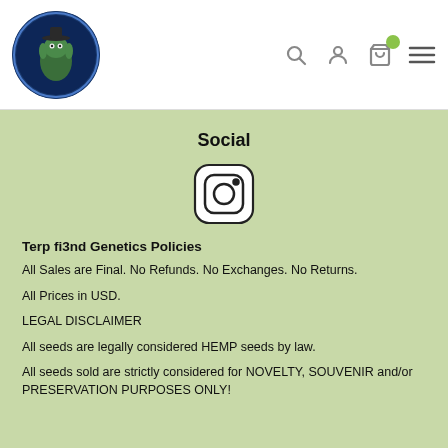[Figure (logo): Circular logo with a Yoda-like character wearing a hat, on a blue background with text around the border]
[Figure (illustration): Header navigation icons: search, user account, shopping cart with green badge, and hamburger menu]
Social
[Figure (illustration): Instagram logo icon - circle with rounded square camera outline]
Terp fi3nd Genetics Policies
All Sales are Final. No Refunds. No Exchanges. No Returns.
All Prices in USD.
LEGAL DISCLAIMER
All seeds are legally considered HEMP seeds by law.
All seeds sold are strictly considered for NOVELTY, SOUVENIR and/or PRESERVATION PURPOSES ONLY!